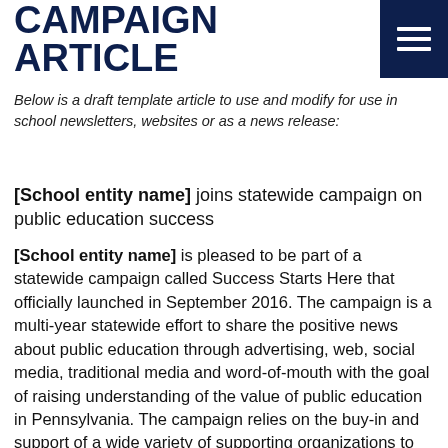CAMPAIGN ARTICLE
Below is a draft template article to use and modify for use in school newsletters, websites or as a news release:
[School entity name] joins statewide campaign on public education success
[School entity name] is pleased to be part of a statewide campaign called Success Starts Here that officially launched in September 2016. The campaign is a multi-year statewide effort to share the positive news about public education through advertising, web, social media, traditional media and word-of-mouth with the goal of raising understanding of the value of public education in Pennsylvania. The campaign relies on the buy-in and support of a wide variety of supporting organizations to fully leverage the financial resources available for the